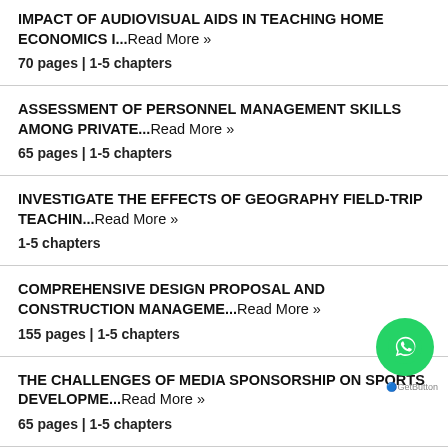IMPACT OF AUDIOVISUAL AIDS IN TEACHING HOME ECONOMICS I...Read More »
70 pages | 1-5 chapters
ASSESSMENT OF PERSONNEL MANAGEMENT SKILLS AMONG PRIVATE...Read More »
65 pages | 1-5 chapters
INVESTIGATE THE EFFECTS OF GEOGRAPHY FIELD-TRIP TEACHIN...Read More »
1-5 chapters
COMPREHENSIVE DESIGN PROPOSAL AND CONSTRUCTION MANAGEME...Read More »
155 pages | 1-5 chapters
THE CHALLENGES OF MEDIA SPONSORSHIP ON SPORTS DEVELOPME...Read More »
65 pages | 1-5 chapters
THE EFFECT OF TOTAL COMMUNICATION ON